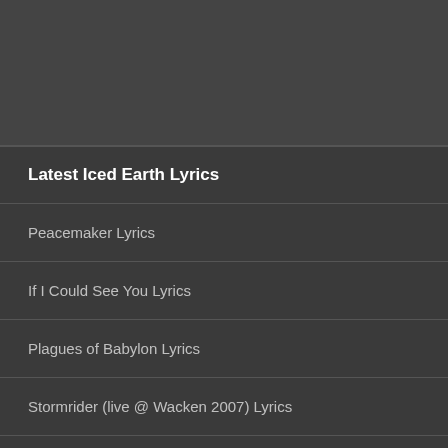Latest Iced Earth Lyrics
Peacemaker Lyrics
If I Could See You Lyrics
Plagues of Babylon Lyrics
Stormrider (live @ Wacken 2007) Lyrics
The Hunter (live @ Wacken 2007) Lyrics
Declaration Day (live @ Wacken 2007) Lyrics
Days of Rage Lyrics